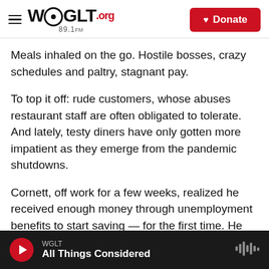WGLT.org 89.1FM | Donate
Meals inhaled on the go. Hostile bosses, crazy schedules and paltry, stagnant pay.
To top it off: rude customers, whose abuses restaurant staff are often obligated to tolerate. And lately, testy diners have only gotten more impatient as they emerge from the pandemic shutdowns.
Cornett, off work for a few weeks, realized he received enough money through unemployment benefits to start saving — for the first time. He wondered if the work he loves would ever entail a job that came with health insurance or paid leave.
WGLT | All Things Considered